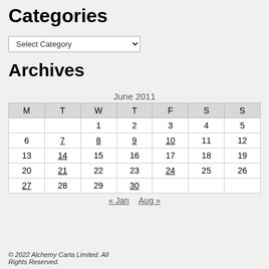Categories
Select Category (dropdown)
Archives
| M | T | W | T | F | S | S |
| --- | --- | --- | --- | --- | --- | --- |
|  |  | 1 | 2 | 3 | 4 | 5 |
| 6 | 7 | 8 | 9 | 10 | 11 | 12 |
| 13 | 14 | 15 | 16 | 17 | 18 | 19 |
| 20 | 21 | 22 | 23 | 24 | 25 | 26 |
| 27 | 28 | 29 | 30 |  |  |  |
« Jan  Aug »
© 2022 Alchemy Carta Limited. All Rights Reserved.